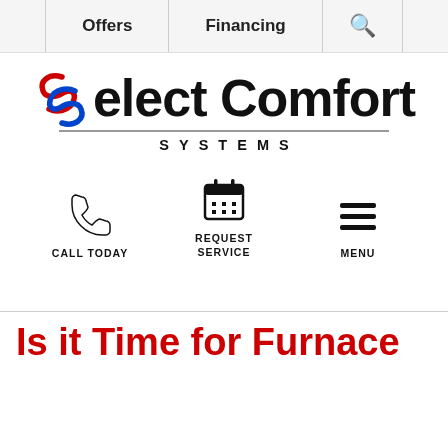Offers | Financing | Search
[Figure (logo): Select Comfort Systems logo with red and blue S swirl icon, text 'Select Comfort' in large bold black font and 'SYSTEMS' in spaced caps below a horizontal rule]
[Figure (infographic): Three action icons: phone handset with label CALL TODAY, calendar grid with labels REQUEST SERVICE, hamburger menu with label MENU]
Is it Time for Furnace Service